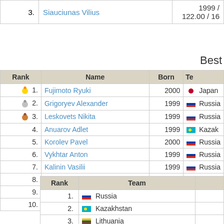| Rank | Name | Born | Team |
| --- | --- | --- | --- |
| 3. | Siauciunas Vilius | 1999 / 122.00 / 16 |  |
Best
| Rank | Name | Born | Team |
| --- | --- | --- | --- |
| 🥇 1. | Fujimoto Ryuki | 2000 | 🇯🇵 Japan |
| 🥈 2. | Grigoryev Alexander | 1999 | 🇷🇺 Russia |
| 🥉 3. | Leskovets Nikita | 1999 | 🇷🇺 Russia |
| 4. | Anuarov Adlet | 1999 | 🇰🇿 Kazakhstan |
| 5. | Korolev Pavel | 2000 | 🇷🇺 Russia |
| 6. | Vykhtar Anton | 1999 | 🇷🇺 Russia |
| 7. | Kalinin Vasilii | 1999 | 🇷🇺 Russia |
| 8. | Balogh Natan | 2000 | 🇭🇺 Hungary |
| 9. | Khabidulla Zhanassyl | 1999 | 🇰🇿 Kazakhstan |
| 10. | Zhazymov Nyrzhan | 2000 | 🇰🇿 Kazakhstan |
| Rank | Team |
| --- | --- |
| 1. | Russia |
| 2. | Kazakhstan |
| 3. | Lithuania |
| 4. | Poland |
| 5. | Estonia |